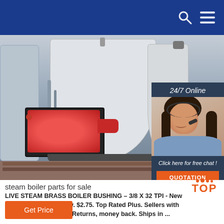24/7 Online – website header with search and menu icons
[Figure (photo): Industrial steam boiler with red burner unit, large white cylindrical tank, pipes, sitting on a wooden pallet in an industrial setting. Overlay chat widget with woman wearing headset, '24/7 Online', 'Click here for free chat!', and 'QUOTATION' button.]
steam boiler parts for sale
LIVE STEAM BRASS BOILER BUSHING – 3/8 X 32 TPI - New Train Parts. Brand New. $2.75. Top Rated Plus. Sellers with highest buyer ratings. Returns, money back. Ships in ...
[Figure (logo): TOP logo with orange dots and bold orange TOP text]
Get Price